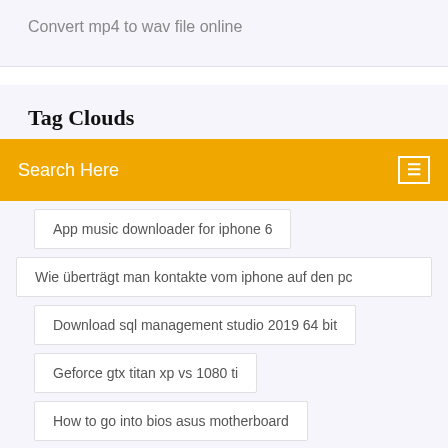Convert mp4 to wav file online
Tag Clouds
Search Here
App music downloader for iphone 6
Wie überträgt man kontakte vom iphone auf den pc
Download sql management studio 2019 64 bit
Geforce gtx titan xp vs 1080 ti
How to go into bios asus motherboard
Windows 7 rechner fährt nicht mehr runter
How to know network bandwidth usage